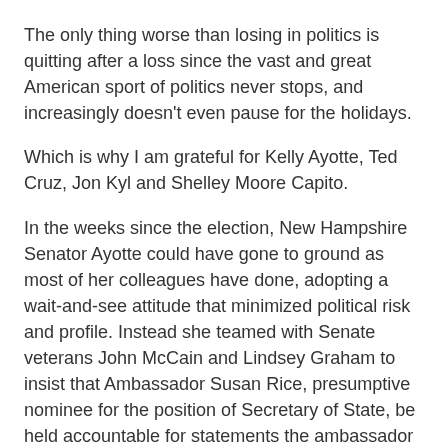The only thing worse than losing in politics is quitting after a loss since the vast and great American sport of politics never stops, and increasingly doesn't even pause for the holidays.
Which is why I am grateful for Kelly Ayotte, Ted Cruz, Jon Kyl and Shelley Moore Capito.
In the weeks since the election, New Hampshire Senator Ayotte could have gone to ground as most of her colleagues have done, adopting a wait-and-see attitude that minimized political risk and profile. Instead she teamed with Senate veterans John McCain and Lindsey Graham to insist that Ambassador Susan Rice, presumptive nominee for the position of Secretary of State, be held accountable for statements the ambassador made during the presidential campaign about the September 11 slaughter of American diplomats and security personnel in Benghazi.
Ayotte was on my radio show Wednesday (transcript here) and it is clear that she will do everything she can to set a precedent about the politicization of American foreign policy